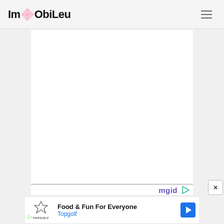ImObiLeu
[Figure (screenshot): White content area placeholder for main page content]
[Figure (logo): mgid logo with play button icon and orange underline]
[Figure (photo): Partial photo of a luxury sofa with cream leather and dark wood, with a striped cushion]
[Figure (screenshot): Advertisement banner: Topgolf logo with shield icon, headline 'Food & Fun For Everyone', subtext 'Topgolf', blue navigation arrow on right, play icon on left]
Food & Fun For Everyone
Topgolf